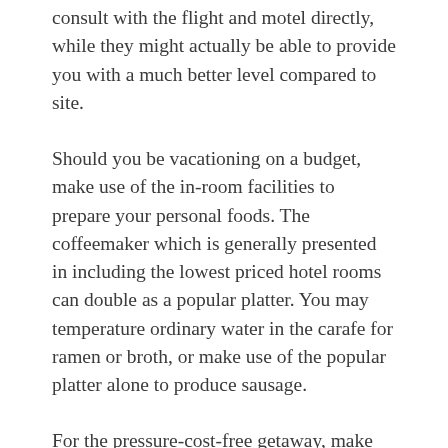consult with the flight and motel directly, while they might actually be able to provide you with a much better level compared to site.
Should you be vacationing on a budget, make use of the in-room facilities to prepare your personal foods. The coffeemaker which is generally presented in including the lowest priced hotel rooms can double as a popular platter. You may temperature ordinary water in the carafe for ramen or broth, or make use of the popular platter alone to produce sausage.
For the pressure-cost-free getaway, make sure people can speak to you. Consider your cellphone together with you while keeping it incurred. Bring your laptop together with you once you learn you will get an internet connection what your location is keeping. In case there is urgent, men